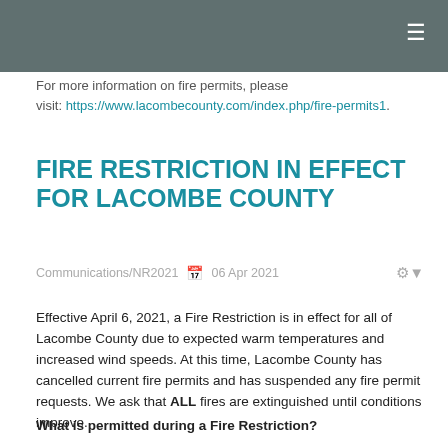For more information on fire permits, please visit: https://www.lacombecounty.com/index.php/fire-permits1.
FIRE RESTRICTION IN EFFECT FOR LACOMBE COUNTY
Communications/NR2021   📅  06 Apr 2021
Effective April 6, 2021, a Fire Restriction is in effect for all of Lacombe County due to expected warm temperatures and increased wind speeds. At this time, Lacombe County has cancelled current fire permits and has suspended any fire permit requests. We ask that ALL fires are extinguished until conditions improve.
What is permitted during a Fire Restriction?
READ MORE ...